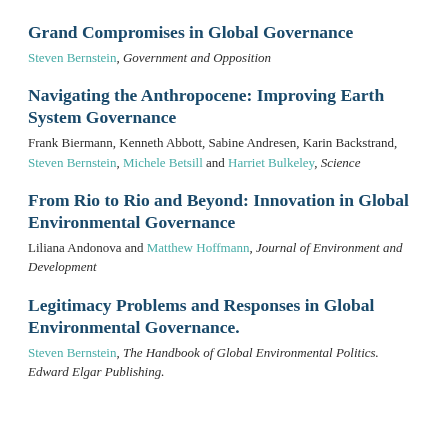Grand Compromises in Global Governance
Steven Bernstein, Government and Opposition
Navigating the Anthropocene: Improving Earth System Governance
Frank Biermann, Kenneth Abbott, Sabine Andresen, Karin Backstrand, Steven Bernstein, Michele Betsill and Harriet Bulkeley, Science
From Rio to Rio and Beyond: Innovation in Global Environmental Governance
Liliana Andonova and Matthew Hoffmann, Journal of Environment and Development
Legitimacy Problems and Responses in Global Environmental Governance.
Steven Bernstein, The Handbook of Global Environmental Politics. Edward Elgar Publishing.